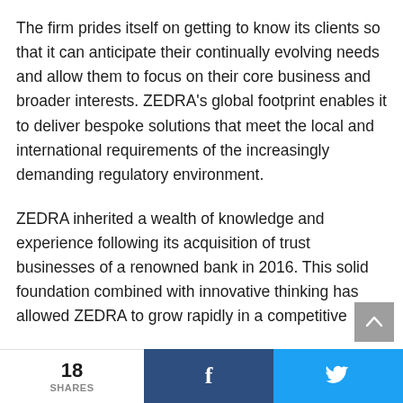The firm prides itself on getting to know its clients so that it can anticipate their continually evolving needs and allow them to focus on their core business and broader interests. ZEDRA's global footprint enables it to deliver bespoke solutions that meet the local and international requirements of the increasingly demanding regulatory environment.
ZEDRA inherited a wealth of knowledge and experience following its acquisition of trust businesses of a renowned bank in 2016. This solid foundation combined with innovative thinking has allowed ZEDRA to grow rapidly in a competitive
18 SHARES